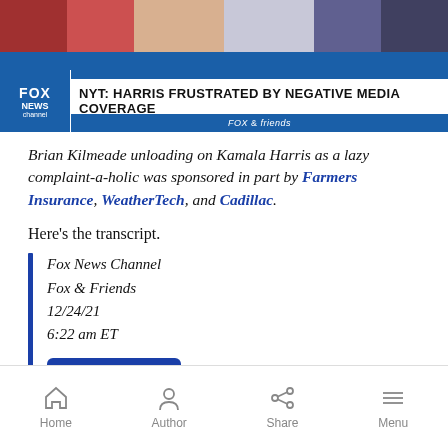[Figure (screenshot): Fox News screenshot showing Fox & Friends banner with headline: NYT: HARRIS FRUSTRATED BY NEGATIVE MEDIA COVERAGE]
Brian Kilmeade unloading on Kamala Harris as a lazy complaint-a-holic was sponsored in part by Farmers Insurance, WeatherTech, and Cadillac.
Here's the transcript.
Fox News Channel
Fox & Friends
12/24/21
6:22 am ET
Expand